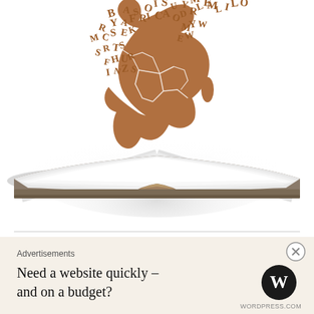[Figure (illustration): An open book with pages spread wide emitting a glowing radial light. From the center of the book rises a stylized map of Africa composed of scattered brown/tan letters and typographic characters (B, A, O, U, Y, M, E, R, Y, A, F, R, I, C, A, S, F, H, U, R, M, L, I, L, O, N, Z, S, etc.), merging into a solid brown silhouette of the African continent with country borders outlined in white. The illustration conveys knowledge and Africa rising from books.]
Advertisements
Need a website quickly – and on a budget?
[Figure (logo): WordPress logo: a black circle with a white W inside]